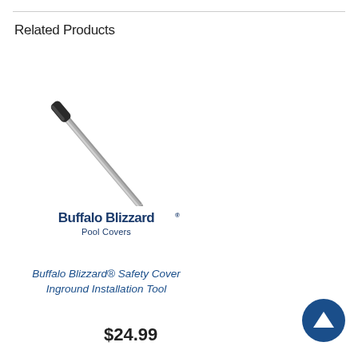Related Products
[Figure (photo): Buffalo Blizzard Pool Covers branding image with a long metal installation tool (rod) shown diagonally, and the Buffalo Blizzard Pool Covers logo below it.]
Buffalo Blizzard® Safety Cover Inground Installation Tool
$24.99